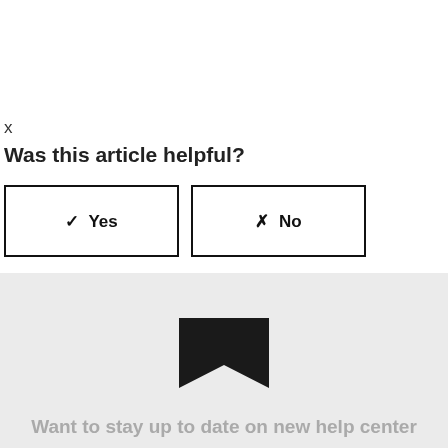x
Was this article helpful?
✔ Yes   ✖ No
36 out of 83 found this helpful
[Figure (logo): Flag/bookmark shaped logo icon in black]
Want to stay up to date on new help center